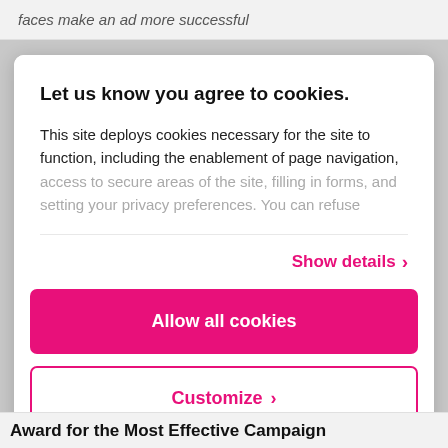faces make an ad more successful
Let us know you agree to cookies.
This site deploys cookies necessary for the site to function, including the enablement of page navigation, access to secure areas of the site, filling in forms, and setting your privacy preferences. You can refuse
Show details
Allow all cookies
Customize
Powered by Cookiebot by Usercentrics
Award for the Most Effective Campaign